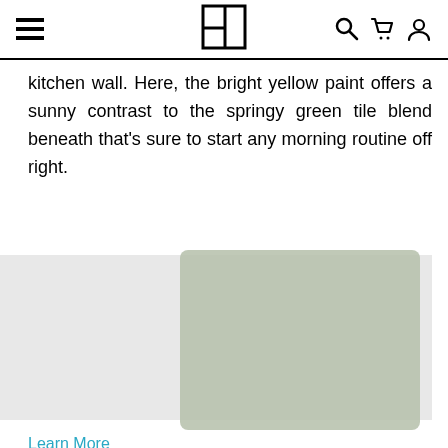Navigation bar with hamburger menu, logo, search, cart, and user icons
kitchen wall. Here, the bright yellow paint offers a sunny contrast to the springy green tile blend beneath that’s sure to start any morning routine off right.
[Figure (screenshot): Cookie consent banner overlay on a website. Gray background panel with text 'This website uses cookies to ensure you get the best experience on our website.' with a 'Learn More' link in teal and a 'Got it!' dark green button. Behind the banner is a sage green tile/paint swatch image.]
Learn More